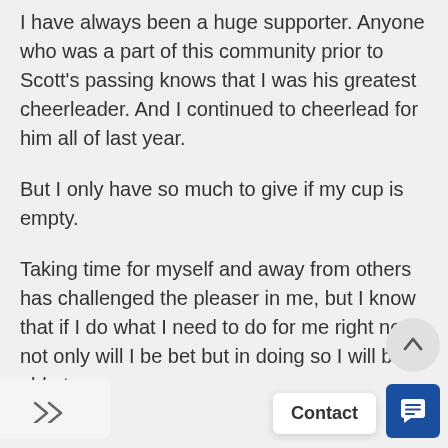I have always been a huge supporter. Anyone who was a part of this community prior to Scott's passing knows that I was his greatest cheerleader. And I continued to cheerlead for him all of last year.
But I only have so much to give if my cup is empty.
Taking time for myself and away from others has challenged the pleaser in me, but I know that if I do what I need to do for me right now, not only will I be bet but in doing so I will be able to
[Figure (other): Share icon (double forward arrow) on a light grey rounded rectangle tab at bottom left]
[Figure (other): Circular scroll-up button with upward arrow on grey background at bottom right]
Contact
[Figure (other): Blue chat button with white speech bubble icon at bottom right corner]